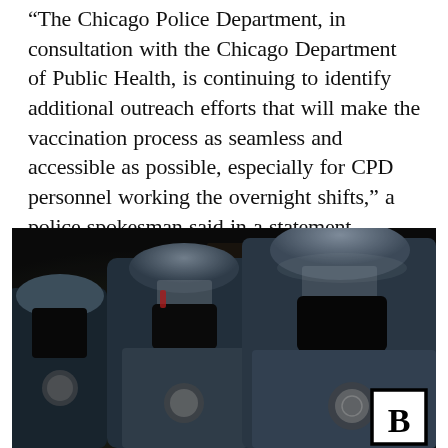“The Chicago Police Department, in consultation with the Chicago Department of Public Health, is continuing to identify additional outreach efforts that will make the vaccination process as seamless and accessible as possible, especially for CPD personnel working the overnight shifts,” a police spokesman said in a statement.
[Figure (photo): Chicago Police Department officers in riot gear with blue helmets and black face masks, standing in a dark outdoor setting at night. A Breitbart News logo (letter B in a black-bordered white box) appears in the lower right corner.]